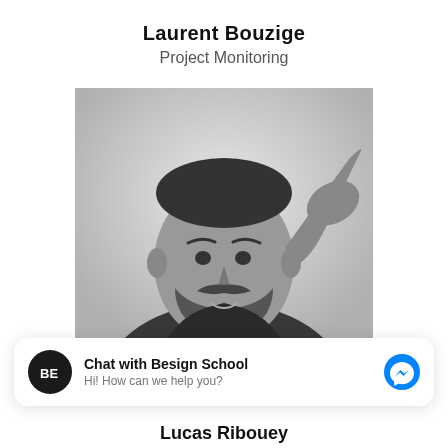Laurent Bouzige
Project Monitoring
[Figure (photo): Black and white portrait photo of Laurent Bouzige, a bearded man touching his hair with his right hand, wearing a jacket]
[Figure (infographic): Facebook Messenger chat widget with Besign School logo avatar, text 'Chat with Besign School' and subtitle 'Hi! How can we help you?', with blue Messenger icon on the right]
Lucas Ribouey